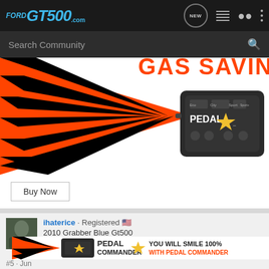FORDGT500.com
[Figure (screenshot): FordGT500.com forum website header with logo, search bar, and navigation icons]
[Figure (photo): Advertisement banner showing orange and black lightning bolt graphics with Pedal Commander device and GAS SAVING text]
Buy Now
ihaterice · Registered 🇺🇸
2010 Grabber Blue Gt500
[Figure (photo): Bottom advertisement for Pedal Commander: YOU WILL SMILE 100% WITH PEDAL COMMANDER]
#5 · Jun